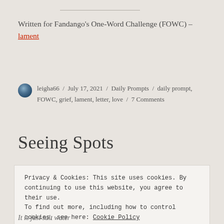Written for Fandango's One-Word Challenge (FOWC) – lament
leigha66 / July 17, 2021 / Daily Prompts / daily prompt, FOWC, grief, lament, letter, love / 7 Comments
Seeing Spots
Privacy & Cookies: This site uses cookies. By continuing to use this website, you agree to their use.
To find out more, including how to control cookies, see here: Cookie Policy
Close and accept
It is just salt water